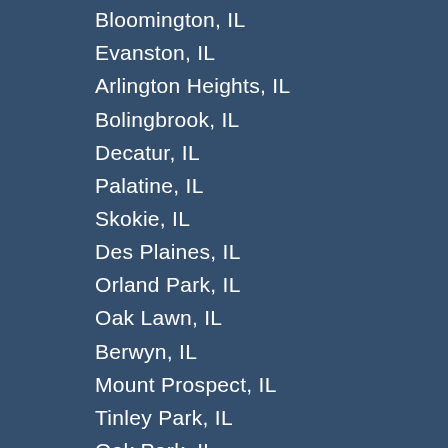Bloomington, IL
Evanston, IL
Arlington Heights, IL
Bolingbrook, IL
Decatur, IL
Palatine, IL
Skokie, IL
Des Plaines, IL
Orland Park, IL
Oak Lawn, IL
Berwyn, IL
Mount Prospect, IL
Tinley Park, IL
Oak Park, IL